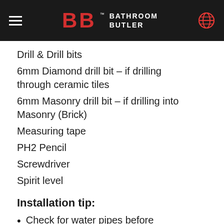BATHROOM BUTLER
Drill & Drill bits
6mm Diamond drill bit – if drilling through ceramic tiles
6mm Masonry drill bit – if drilling into Masonry (Brick)
Measuring tape
PH2 Pencil
Screwdriver
Spirit level
Installation tip:
Check for water pipes before deciding where to drill